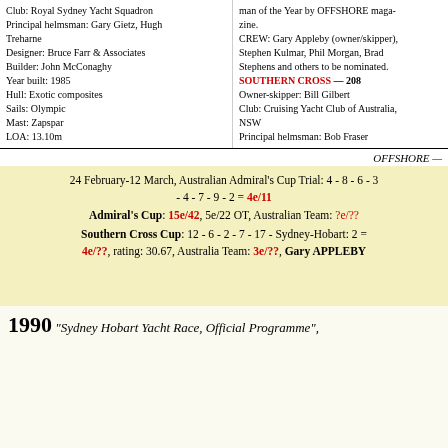Club: Royal Sydney Yacht Squadron
Principal helmsman: Gary Gietz, Hugh Treharne
Designer: Bruce Farr & Associates
Builder: John McConaghy
Year built: 1985
Hull: Exotic composites
Sails: Olympic
Mast: Zapspar
LOA: 13.10m
man of the Year by OFFSHORE magazine.
CREW: Gary Appleby (owner/skipper), Stephen Kulmar, Phil Morgan, Brad Stephens and others to be nominated.
SOUTHERN CROSS — 208
Owner-skipper: Bill Gilbert
Club: Cruising Yacht Club of Australia, NSW
Principal helmsman: Bob Fraser
OFFSHORE —
24 February-12 March, Australian Admiral's Cup Trial: 4 - 8 - 6 - 3 - 4 - 7 - 9 - 2 = 4e/11
Admiral's Cup: 15e/42, 5e/22 OT, Australian Team: ?e/??
Southern Cross Cup: 12 - 6 - 2 - 7 - 17 - Sydney-Hobart: 2 = 4e/??, rating: 30.67, Australia Team: 3e/??, Gary APPLEBY
1990 "Sydney Hobart Yacht Race, Official Programme",
[Figure (photo): Black and white photograph of a sailing yacht with white sails on water]
SAGACIOUS (0) — KA 4000
LOA 12.08m; IOR RATING
Designer: Bruce Farr (NZ)
Type: One Tonner. Year Built: 198
Owner/Skipper: Gary Appleby
Club: Cruising Yacht Club of Aust
One of the best Farr One Tonners b Sagacious has represented Australia i Cross Cup, 1988 Kenwood Cup, 198 Cup, as well as competing in the 198